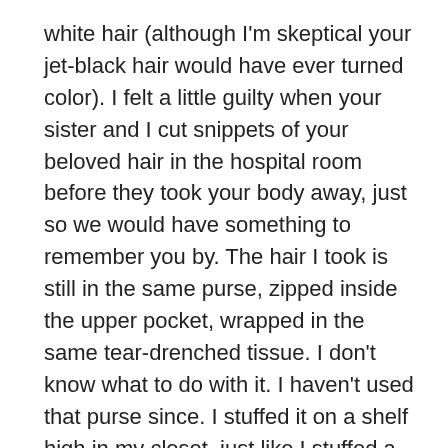white hair (although I'm skeptical your jet-black hair would have ever turned color). I felt a little guilty when your sister and I cut snippets of your beloved hair in the hospital room before they took your body away, just so we would have something to remember you by. The hair I took is still in the same purse, zipped inside the upper pocket, wrapped in the same tear-drenched tissue. I don't know what to do with it. I haven't used that purse since. I stuffed it on a shelf high in my closet, just like I stuffed a lot of things I knew I needed more time to deal with.
I get shivers down my spine when I look at the pictures we took only days and weeks before your passing. Moments of us together, frozen in time, like the picture of you pushing Eloise on the swing right after we bought them new shoes at the mall, or the one of all of us posed on the Legoland ride 11 days